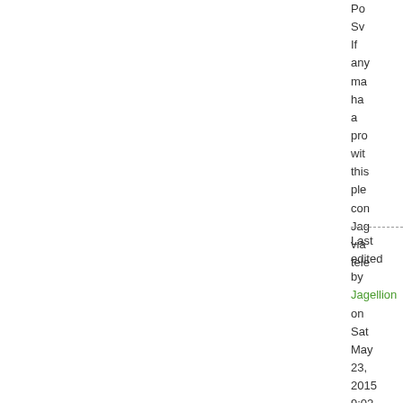Po Sv If any ma ha a pro wit this ple con Jag via tele
Last edited by Jagellion on Sat May 23, 2015 9:02 pm, edited